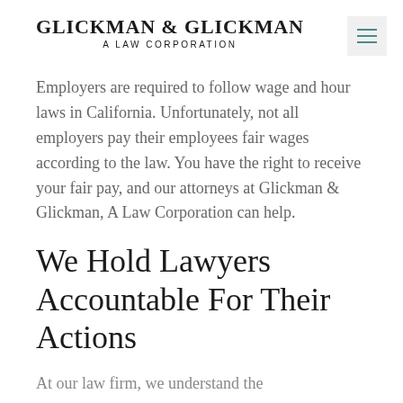GLICKMAN & GLICKMAN A LAW CORPORATION
Employers are required to follow wage and hour laws in California. Unfortunately, not all employers pay their employees fair wages according to the law. You have the right to receive your fair pay, and our attorneys at Glickman & Glickman, A Law Corporation can help.
We Hold Lawyers Accountable For Their Actions
At our law firm, we understand the